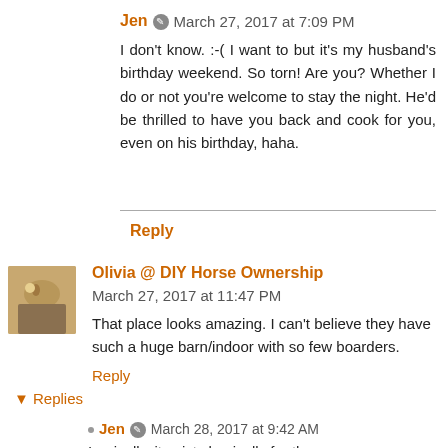Jen  March 27, 2017 at 7:09 PM
I don't know. :-( I want to but it's my husband's birthday weekend. So torn! Are you? Whether I do or not you're welcome to stay the night. He'd be thrilled to have you back and cook for you, even on his birthday, haha.
Reply
Olivia @ DIY Horse Ownership  March 27, 2017 at 11:47 PM
That place looks amazing. I can't believe they have such a huge barn/indoor with so few boarders.
Reply
Replies
Jen  March 28, 2017 at 9:42 AM
Ironically, it exists basically for the same reason